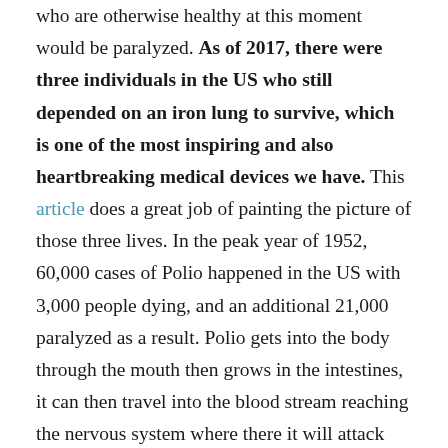who are otherwise healthy at this moment would be paralyzed. As of 2017, there were three individuals in the US who still depended on an iron lung to survive, which is one of the most inspiring and also heartbreaking medical devices we have. This article does a great job of painting the picture of those three lives. In the peak year of 1952, 60,000 cases of Polio happened in the US with 3,000 people dying, and an additional 21,000 paralyzed as a result. Polio gets into the body through the mouth then grows in the intestines, it can then travel into the blood stream reaching the nervous system where there it will attack the spinal cord or the brain, where it can cause paralysis. The death like most viral infections is not pretty, imagine a 6 year-old gasping for breath as their lungs become paralyzed and